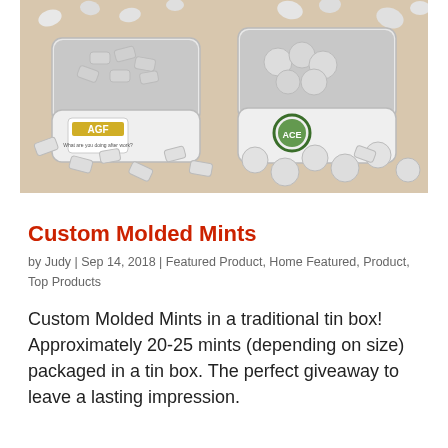[Figure (photo): Two open white tin boxes with custom logos on the lids, surrounded by white mints/candies on a beige background. Left tin shows an 'AGF' logo, right tin shows a green circular logo.]
Custom Molded Mints
by Judy | Sep 14, 2018 | Featured Product, Home Featured, Product, Top Products
Custom Molded Mints in a traditional tin box! Approximately 20-25 mints (depending on size) packaged in a tin box. The perfect giveaway to leave a lasting impression.